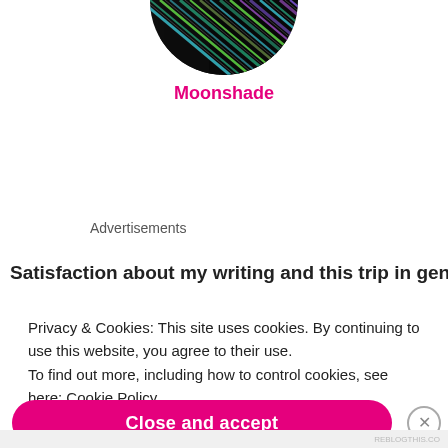[Figure (illustration): Circular avatar image with colorful diagonal stripe pattern in green, blue, and purple hues, cropped at the bottom of the circle]
Moonshade
Advertisements
Satisfaction about my writing and this trip in general
Privacy & Cookies: This site uses cookies. By continuing to use this website, you agree to their use.
To find out more, including how to control cookies, see here: Cookie Policy.
Close and accept